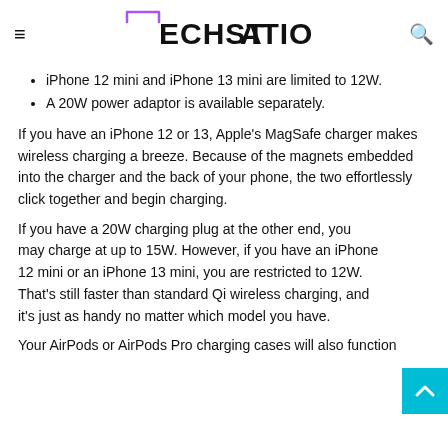TechStation
iPhone 12 mini and iPhone 13 mini are limited to 12W.
A 20W power adaptor is available separately.
If you have an iPhone 12 or 13, Apple's MagSafe charger makes wireless charging a breeze. Because of the magnets embedded into the charger and the back of your phone, the two effortlessly click together and begin charging.
If you have a 20W charging plug at the other end, you may charge at up to 15W. However, if you have an iPhone 12 mini or an iPhone 13 mini, you are restricted to 12W. That's still faster than standard Qi wireless charging, and it's just as handy no matter which model you have.
Your AirPods or AirPods Pro charging cases will also function